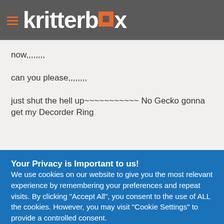kritterbox
now,,,,,,,,
can you please,,,,,,,,
just shut the hell up~~~~~~~~~~~ No Gecko gonna get my Decorder Ring
Your Privacy is Important to us! We use cookies on our website to give you the most relevant experience by remembering your preferences and repeat visits. By clicking "Accept All", you consent to the use of ALL the cookies. However, you may visit "Cookie Settings" to provide a controlled consent.
Cookie Settings | Accept All